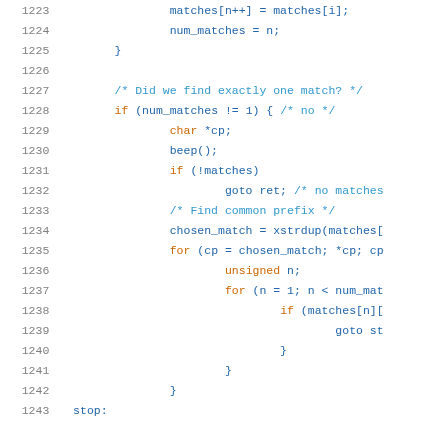Source code listing lines 1223-1243 showing C code for match completion logic